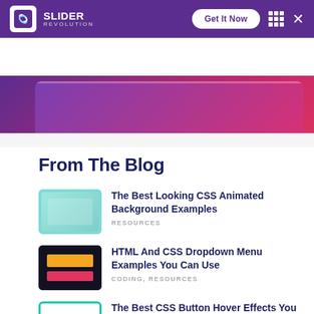SLIDER REVOLUTION
[Figure (screenshot): Slider Revolution website navigation bar with logo, Get It Now button, grid icon and X close button on purple background]
[Figure (screenshot): Gradient hero banner strip with purple to pink/red gradient]
From The Blog
The Best Looking CSS Animated Background Examples — RESOURCES
HTML And CSS Dropdown Menu Examples You Can Use — CODING, RESOURCES
The Best CSS Button Hover Effects You Can Use Too — RESOURCES